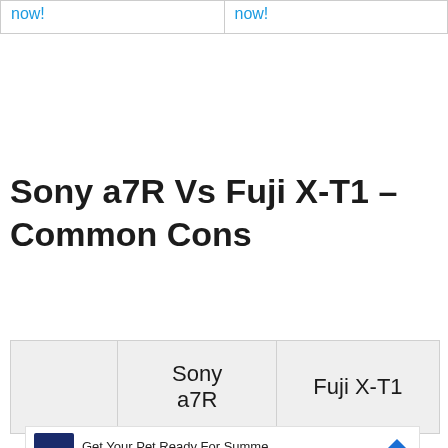| now! | now! |
| --- | --- |
Sony a7R Vs Fuji X-T1 – Common Cons
|  | Sony a7R | Fuji X-T1 |
| --- | --- | --- |
[Figure (other): Advertisement banner: Petco logo, text 'Get Your Pet Ready For Summe', 'Petco', with blue navigation arrow icon]